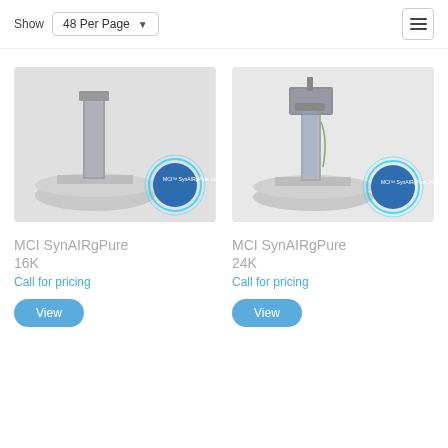Show 48 Per Page
[Figure (photo): Product image of MCI SynAIRgPure 16K unit — a vertical industrial air purification device mounted on a circular base, with a blue circular logo/badge in the corner reading 'MCI SynAIRgPure 16K']
MCI SynAIRgPure 16K
Call for pricing
View
[Figure (photo): Product image of MCI SynAIRgPure 24K unit — a vertical industrial air purification device with an upper box unit, mounted on a circular base, with a blue circular logo/badge in the corner reading 'MCI SynAIRgPure 24K']
MCI SynAIRgPure 24K
Call for pricing
View